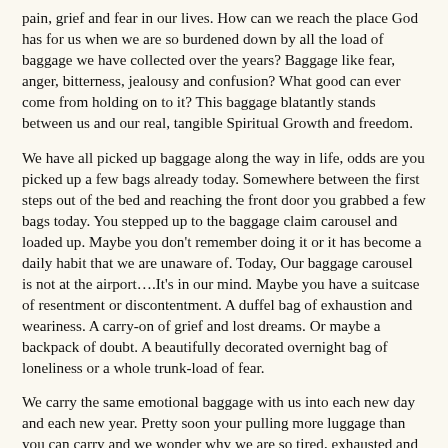pain, grief and fear in our lives. How can we reach the place God has for us when we are so burdened down by all the load of baggage we have collected over the years?  Baggage like fear, anger, bitterness, jealousy and confusion?   What good can ever come from holding on to it? This baggage blatantly stands between us and our real, tangible Spiritual Growth and freedom.
We have all picked up baggage along the way in life, odds are you picked up a few bags already today. Somewhere between the first steps out of the bed and reaching the front door you grabbed a few bags today.  You stepped up to the baggage claim carousel and loaded up.  Maybe you don't remember doing it or it has become a daily habit that we are unaware of.  Today, Our baggage carousel is not at the airport….It's in our mind. Maybe you have a suitcase of resentment or discontentment.   A duffel bag of exhaustion and weariness.  A carry-on of grief and lost dreams. Or maybe a backpack of doubt.  A beautifully decorated overnight bag of loneliness or a whole trunk-load of fear.
We carry the same emotional baggage with us into each new day and each new year.  Pretty soon your pulling more luggage than you can carry and we wonder why we are so tired, exhausted and mentally spent by the end of the day. How do we come to a